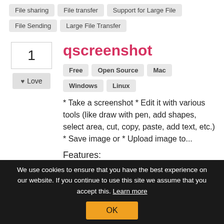File sharing
File transfer
Support for Large File
File Sending
Large File Transfer
qscreenshot
Free
Open Source
Mac
Windows
Linux
* Take a screenshot * Edit it with various tools (like draw with pen, add shapes, select area, cut, copy, paste, add text, etc.) * Save image or * Upload image to...
Features:
Screenshot Tools
Edit screenshots
Share screenshots
We use cookies to ensure that you have the best experience on our website. If you continue to use this site we assume that you accept this. Learn more